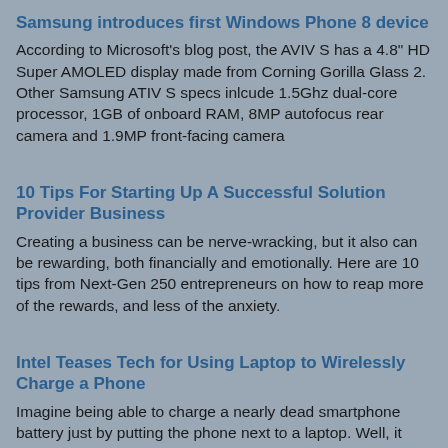Samsung introduces first Windows Phone 8 device
According to Microsoft's blog post, the AVIV S has a 4.8" HD Super AMOLED display made from Corning Gorilla Glass 2. Other Samsung ATIV S specs inlcude 1.5Ghz dual-core processor, 1GB of onboard RAM, 8MP autofocus rear camera and 1.9MP front-facing camera
10 Tips For Starting Up A Successful Solution Provider Business
Creating a business can be nerve-wracking, but it also can be rewarding, both financially and emotionally. Here are 10 tips from Next-Gen 250 entrepreneurs on how to reap more of the rewards, and less of the anxiety.
Intel Teases Tech for Using Laptop to Wirelessly Charge a Phone
Imagine being able to charge a nearly dead smartphone battery just by putting the phone next to a laptop. Well, it turns out that feature is on the drawing board. Intel said on Wednesday that it is working with fellow chipmaker